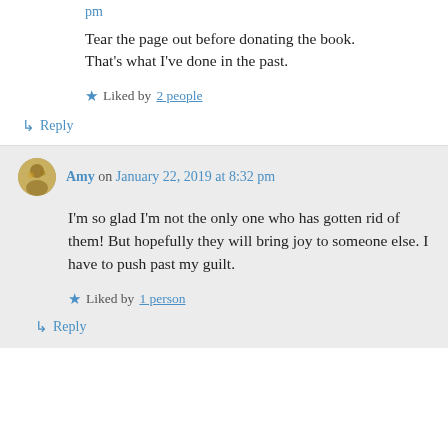pm
Tear the page out before donating the book. That's what I've done in the past.
Liked by 2 people
Reply
Amy on January 22, 2019 at 8:32 pm
I'm so glad I'm not the only one who has gotten rid of them! But hopefully they will bring joy to someone else. I have to push past my guilt.
Liked by 1 person
Reply